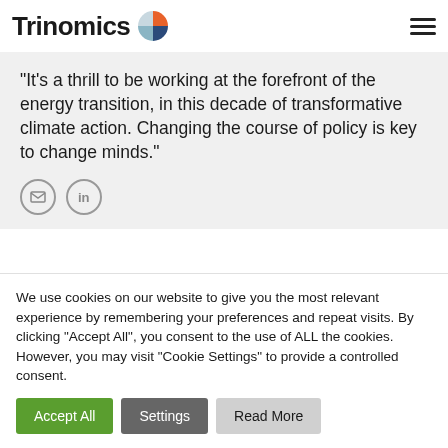Trinomics
“It’s a thrill to be working at the forefront of the energy transition, in this decade of transformative climate action. Changing the course of policy is key to change minds.”
We use cookies on our website to give you the most relevant experience by remembering your preferences and repeat visits. By clicking “Accept All”, you consent to the use of ALL the cookies. However, you may visit "Cookie Settings" to provide a controlled consent.